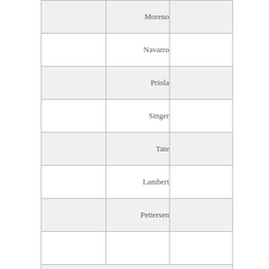|  |  |  |
| --- | --- | --- |
|  | Moreno |  |
|  | Navarro |  |
|  | Priola |  |
|  | Singer |  |
|  | Tate |  |
|  | Lambert |  |
|  | Pettersen |  |
|  |  |  |
| YES: ○ NO: ○ EXC: ○ ABS: ○ REMOTE PARTICIPATION: ○ FINAL ACTION: Pass Without Objection |  |  |